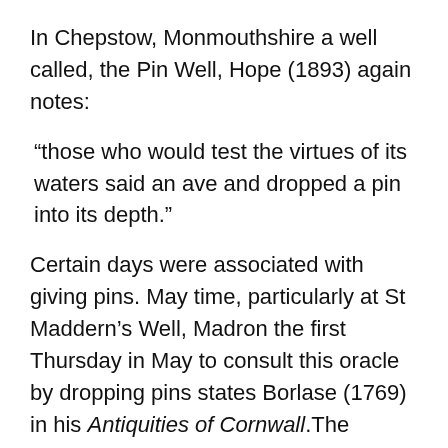In Chepstow, Monmouthshire a well called, the Pin Well, Hope (1893) again notes:
“those who would test the virtues of its waters said an ave and dropped a pin into its depth.”
Certain days were associated with giving pins. May time, particularly at St Maddern’s Well, Madron the first Thursday in May to consult this oracle by dropping pins states Borlase (1769) in his Antiquities of Cornwall.The Wishing well of St. Roche, Cornwall it was visited on Holy Thursday or Ascension Day. At Wooler, Northumberland, the Pin Well was visited by a  procession of people from the village on May Day and each would drop a crooked pin into  it and made a wish.  Cruelly bent pins were daily thrown into St. Warna’s Well, Isle of Scilly to wish for ship wrecks! However in the majority of cases it was for a